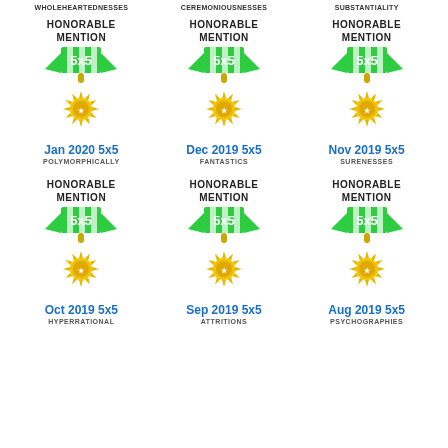WHOLEHEARTEDNESSES   CEREMONIOUSNESSES   SUBSTANTIALITY
HONORABLE MENTION
[Figure (illustration): 5x5 medal badge with green and white ribbon and gold sunburst medallion - Jan 2020 5x5]
Jan 2020 5x5
POLYMORPHICALLY
HONORABLE MENTION
[Figure (illustration): 5x5 medal badge with green and white ribbon and gold sunburst medallion - Dec 2019 5x5]
Dec 2019 5x5
FANTASTICS
HONORABLE MENTION
[Figure (illustration): 5x5 medal badge with green and white ribbon and gold sunburst medallion - Nov 2019 5x5]
Nov 2019 5x5
SURENESSES
HONORABLE MENTION
[Figure (illustration): 5x5 medal badge with green and white ribbon and gold sunburst medallion - Oct 2019 5x5]
Oct 2019 5x5
HYPERRATIONAL
HONORABLE MENTION
[Figure (illustration): 5x5 medal badge with green and white ribbon and gold sunburst medallion - Sep 2019 5x5]
Sep 2019 5x5
ATTRITIONS
HONORABLE MENTION
[Figure (illustration): 5x5 medal badge with green and white ribbon and gold sunburst medallion - Aug 2019 5x5]
Aug 2019 5x5
PSYCHOGRAPHIES